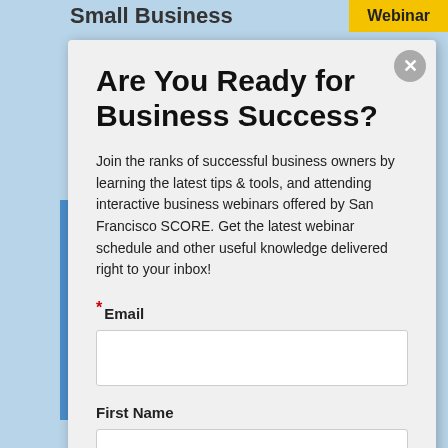Small Business
Webinar
Are You Ready for Business Success?
Join the ranks of successful business owners by learning the latest tips & tools, and attending interactive business webinars offered by San Francisco SCORE. Get the latest webinar schedule and other useful knowledge delivered right to your inbox!
*Email
First Name